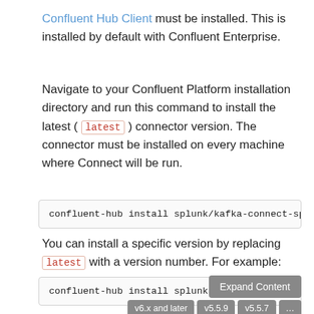Confluent Hub Client must be installed. This is installed by default with Confluent Enterprise.
Navigate to your Confluent Platform installation directory and run this command to install the latest ( latest ) connector version. The connector must be installed on every machine where Connect will be run.
confluent-hub install splunk/kafka-connect-splunk [in...
You can install a specific version by replacing latest with a version number. For example:
confluent-hub install splunk...